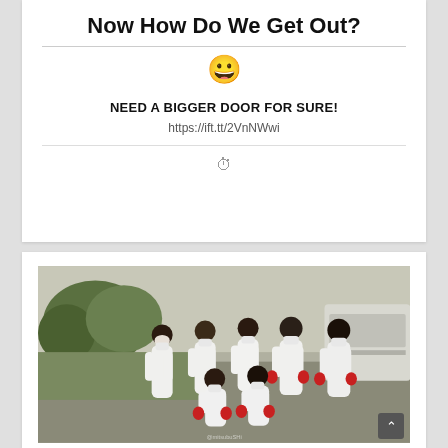Now How Do We Get Out?
[Figure (illustration): Smiley face emoji 😀]
NEED A BIGGER DOOR FOR SURE!
https://ift.tt/2VnNWwi
[Figure (photo): Group of people wearing white hazmat suits and red gloves with face masks, posing outdoors near a white van and trees. Watermark text visible at bottom.]
⏰